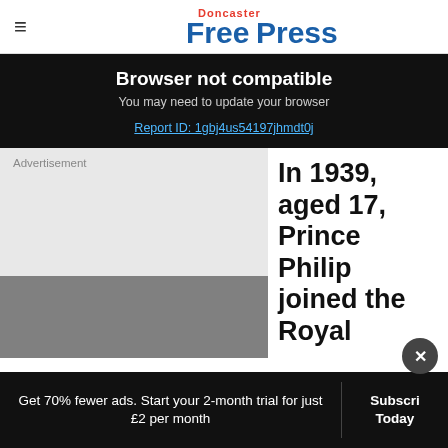Doncaster Free Press
Browser not compatible
You may need to update your browser
Report ID: 1gbj4us54197jhmdt0j
[Figure (other): Advertisement placeholder box (grey background)]
In 1939, aged 17, Prince Philip joined the Royal
Get 70% fewer ads. Start your 2-month trial for just £2 per month
Subscribe Today